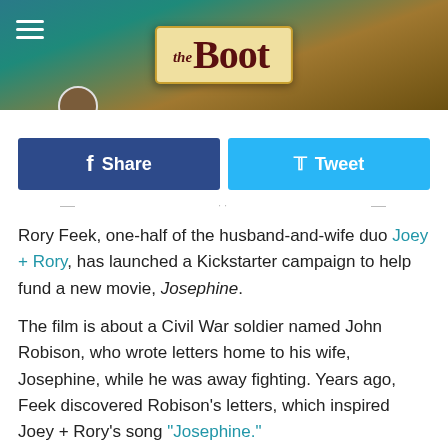the Boot
[Figure (screenshot): Facebook Share button (dark blue) and Tweet button (light blue) social sharing bar]
Rory Feek, one-half of the husband-and-wife duo Joey + Rory, has launched a Kickstarter campaign to help fund a new movie, Josephine.
The film is about a Civil War soldier named John Robison, who wrote letters home to his wife, Josephine, while he was away fighting. Years ago, Feek discovered Robison's letters, which inspired Joey + Rory's song "Josephine."
"In 2013, I received an email from a man in Virginia who had